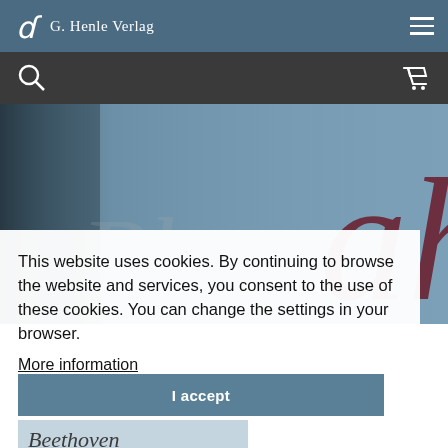G. Henle Verlag
[Figure (screenshot): Close-up photograph of a blue-gray music score cover with dark red serif text letters visible, the letters 'ah' partially visible in large decorative font. Background is a muted steel blue/gray textured surface.]
This website uses cookies. By continuing to browse the website and services, you consent to the use of these cookies. You can change the settings in your browser.
More information
I accept
Beethoven